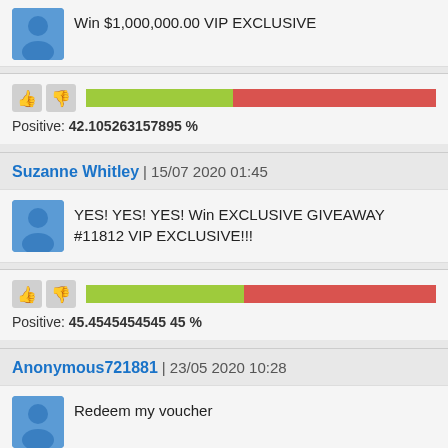Win $1,000,000.00 VIP EXCLUSIVE
[Figure (infographic): Progress bar showing approximately 42% green (positive) and 58% red (negative) with thumbs up/down icons]
Positive: 42.105263157895 %
Suzanne Whitley | 15/07 2020 01:45
YES! YES! YES! Win EXCLUSIVE GIVEAWAY #11812 VIP EXCLUSIVE!!!
[Figure (infographic): Progress bar showing approximately 45% green (positive) and 55% red (negative) with thumbs up/down icons]
Positive: 45.4545454545 45 %
Anonymous721881 | 23/05 2020 10:28
Redeem my voucher